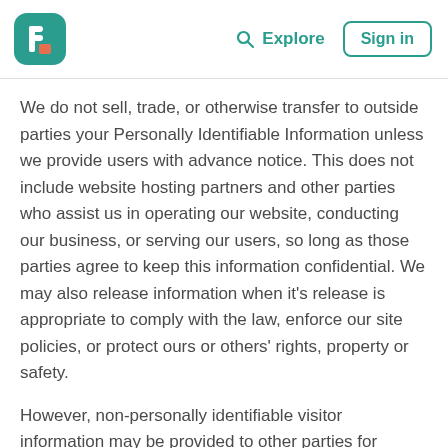Explore  Sign in
We do not sell, trade, or otherwise transfer to outside parties your Personally Identifiable Information unless we provide users with advance notice. This does not include website hosting partners and other parties who assist us in operating our website, conducting our business, or serving our users, so long as those parties agree to keep this information confidential. We may also release information when it's release is appropriate to comply with the law, enforce our site policies, or protect ours or others' rights, property or safety.
However, non-personally identifiable visitor information may be provided to other parties for marketing, advertising, or other uses.